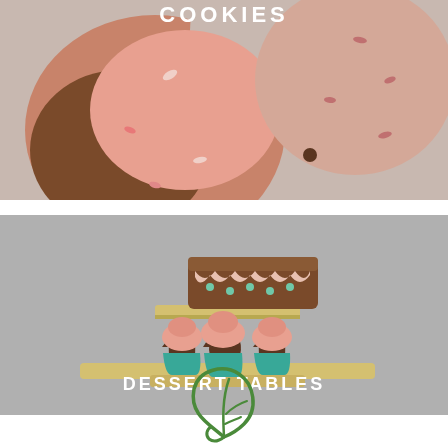[Figure (illustration): Cookie illustration — large pink and brown decorated cookies with sprinkles on a light pink/grey background, with the word COOKIES in white bold uppercase letters overlaid]
[Figure (illustration): Dessert table illustration — a two-tiered yellow stand holding a brown chocolate cake on top and three teal cupcakes with pink frosting on the bottom tier, on a grey background, with the text DESSERT TABLES in white bold uppercase letters overlaid]
[Figure (illustration): Green outline leaf/plant icon on white background, partial view of a section heading below]